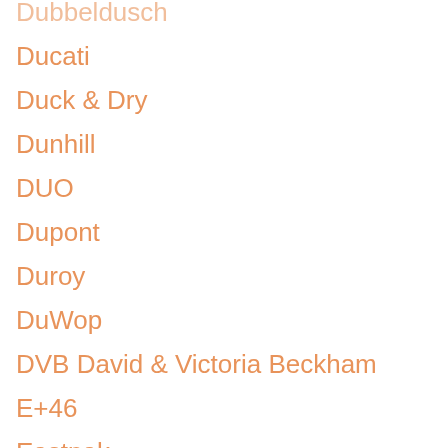Dubbeldusch
Ducati
Duck & Dry
Dunhill
DUO
Dupont
Duroy
DuWop
DVB David & Victoria Beckham
E+46
Eastpak